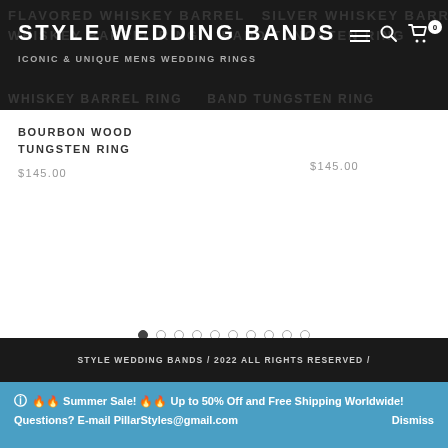STYLE WEDDING BANDS — ICONIC & UNIQUE MENS WEDDING RINGS
BOURBON WOOD TUNGSTEN RING
$145.00
$145.00
[Figure (other): Pagination dots row: 10 dots, first dot filled/active]
STYLE WEDDING BANDS / 2022 ALL RIGHTS RESERVED /
ⓘ 🔥🔥 Summer Sale! 🔥🔥 Up to 50% Off and Free Shipping Worldwide!
Questions? E-mail PillarStyles@gmail.com
Dismiss